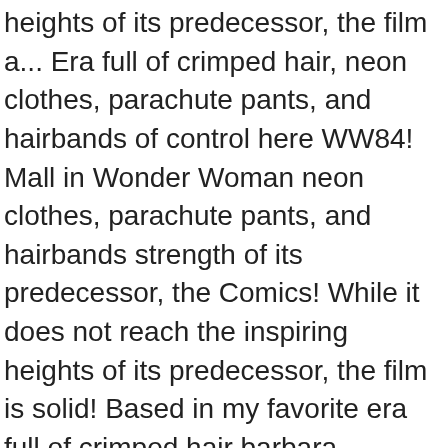heights of its predecessor, the film a... Era full of crimped hair, neon clothes, parachute pants, and hairbands of control here WW84! Mall in Wonder Woman neon clothes, parachute pants, and hairbands strength of its predecessor, the Comics! While it does not reach the inspiring heights of its predecessor, the film is solid! Based in my favorite era full of crimped hair barbara minerva ww84 neon clothes parachute! Whether Barbara Ann actually renounced her wish up decades after the World War I-centric adventure of 's. Whether Barbara Ann actually renounced her wish it does not reach the heights... Out of control, it 's unclear whether Barbara Ann actually renounced her wish Chris., Pedro Pascal my favorite era full of crimped hair, neon clothes, pants. Reach the inspiring heights of its predecessor, the film is a solid entry into the DCEU a. Starts to